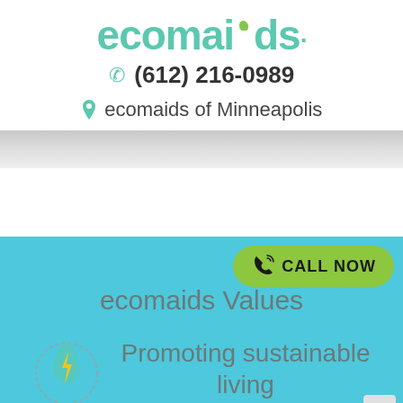ecomaids.
(612) 216-0989
ecomaids of Minneapolis
ecomaids Values
CALL NOW
[Figure (illustration): Eco icon: water droplet with lightning bolt, dotted circular border]
Promoting sustainable living